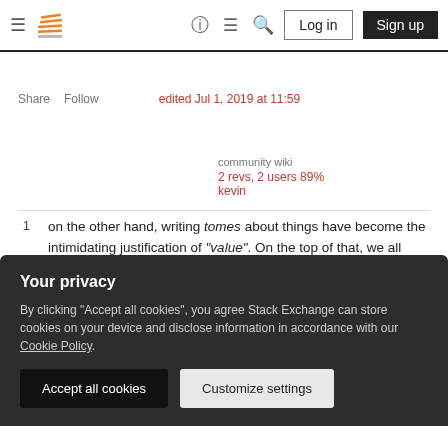Stack Exchange navigation bar with hamburger menu, logo, help, chat, search icons, Log in and Sign up buttons
Share   Follow   edited Jul 1, 2019 at 11:59
community wiki
2 revs, 2 users 89%
kevin
on the other hand, writing tomes about things have become the intimidating justification of "value". On the top of that, we all may know there are industries built on making patents and some specifications
Your privacy
By clicking "Accept all cookies", you agree Stack Exchange can store cookies on your device and disclose information in accordance with our Cookie Policy.
Accept all cookies   Customize settings